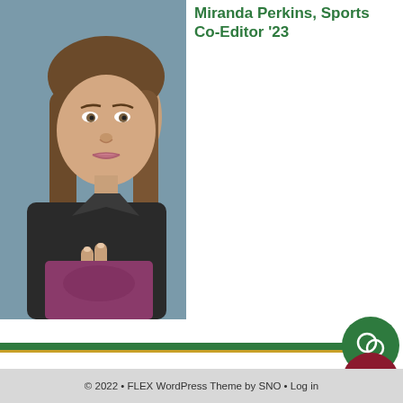[Figure (photo): Portrait photo of Miranda Perkins, a young woman with long brown hair, making a peace sign with her right hand, wearing a dark jacket, photographed in a car.]
Miranda Perkins, Sports Co-Editor '23
© 2022 • FLEX WordPress Theme by SNO • Log in